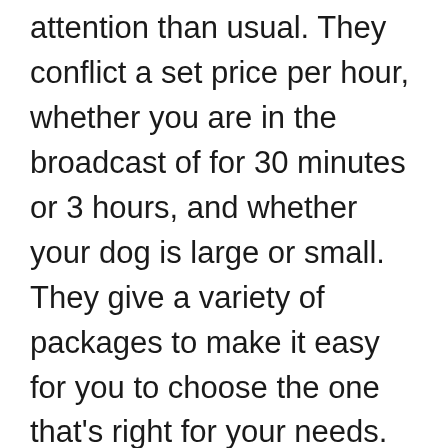attention than usual. They conflict a set price per hour, whether you are in the broadcast of for 30 minutes or 3 hours, and whether your dog is large or small. They give a variety of packages to make it easy for you to choose the one that's right for your needs.
Just Pawing Around LLC Houston Texas Dog Walking service offers many further services besides dog walking. Some examples are dog visits for the elderly, dog training, and dog sitting, grooming, pet taxi services, and dog boarding. Moreover, they also meet the expense of dog sitting at home while you're upon vacation, and dog sitting though you're at work. They also meet the expense of a clear consultation to determine the facilities that best fit your needs.